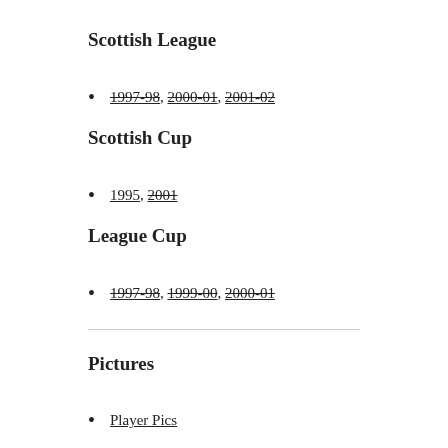Scottish League
1997-98, 2000-01, 2001-02
Scottish Cup
1995, 2001
League Cup
1997-98, 1999-00, 2000-01
Pictures
Player Pics